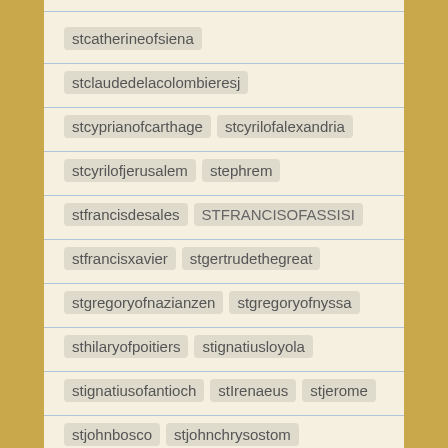stcatherineofsiena
stclaudedelacolombieresj
stcyprianofcarthage  stcyrilofalexandria
stcyrilofjerusalem  stephrem
stfrancisdesales  STFRANCISOFASSISI
stfrancisxavier  stgertrudethegreat
stgregoryofnazianzen  stgregoryofnyssa
sthilaryofpoitiers  stignatiusloyola
stignatiusofantioch  stIrenaeus  stjerome
stjohnbosco  stjohnchrysostom
STJOHNDAMASCENE  stjohneudes
stjohnhenrynewman  stjohnofthecross